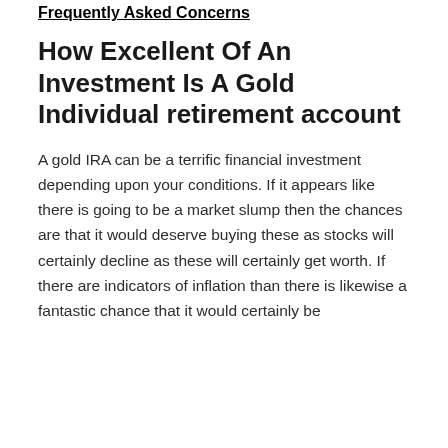Frequently Asked Concerns
How Excellent Of An Investment Is A Gold Individual retirement account
A gold IRA can be a terrific financial investment depending upon your conditions. If it appears like there is going to be a market slump then the chances are that it would deserve buying these as stocks will certainly decline as these will certainly get worth. If there are indicators of inflation than there is likewise a fantastic chance that it would certainly be